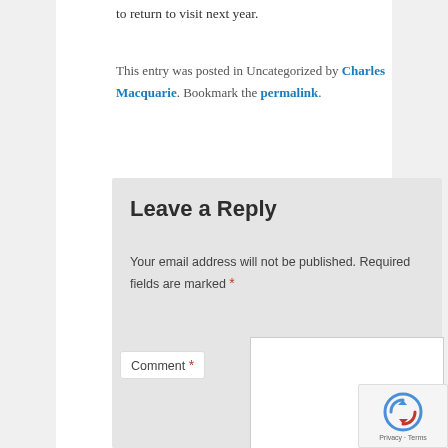to return to visit next year.
This entry was posted in Uncategorized by Charles Macquarie. Bookmark the permalink.
Leave a Reply
Your email address will not be published. Required fields are marked *
Comment *